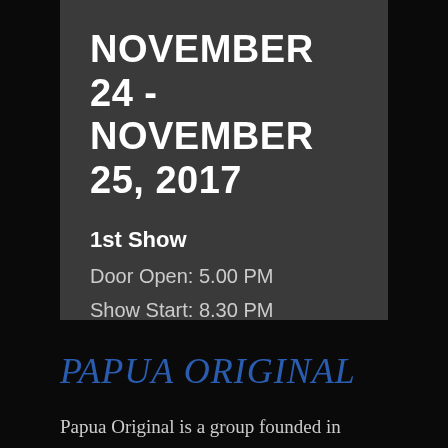NOVEMBER 24 - NOVEMBER 25, 2017
1st Show
Door Open: 5.00 PM
Show Start: 8.30 PM
PAPUA ORIGINAL
Papua Original is a group founded in Jakarta in 2004 with a shared vision to elevate and increase public awareness about Papua